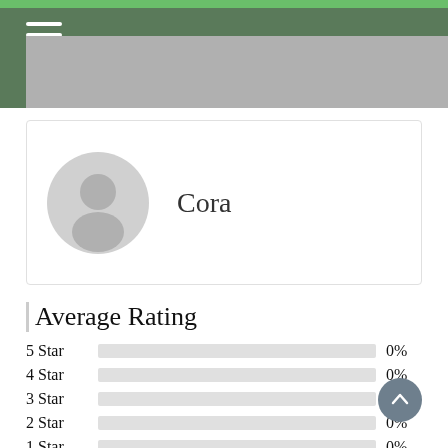Navigation header with green bar and menu icon
[Figure (photo): User profile card with default avatar icon and name 'Cora']
Cora
Average Rating
| Star | Bar | Percentage |
| --- | --- | --- |
| 5 Star |  | 0% |
| 4 Star |  | 0% |
| 3 Star |  | 0% |
| 2 Star |  | 0% |
| 1 Star |  | 0% |